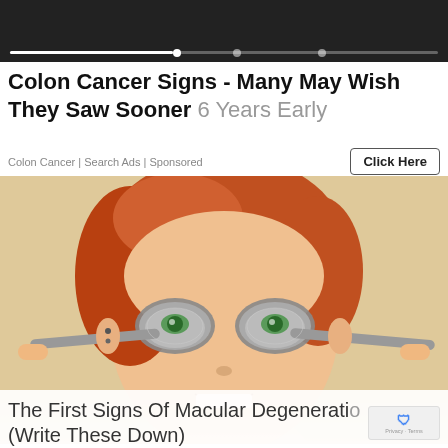[Figure (screenshot): Dark top banner with video progress bar showing white filled portion and dot markers]
Colon Cancer Signs - Many May Wish They Saw Sooner 6 Years Early
Colon Cancer | Search Ads | Sponsored
[Figure (photo): Woman with red hair and green eyes holding two silver spoons over her eyes, smiling, against a beige/tan background]
The First Signs Of Macular Degeneration (Write These Down)